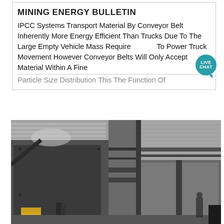MINING ENERGY BULLETIN
IPCC Systems Transport Material By Conveyor Belt Inherently More Energy Efficient Than Trucks Due To The Large Empty Vehicle Mass Required To Power Truck Movement However Conveyor Belts Will Only Accept Material Within A Fine Particle Size Distribution This The Function Of...
[Figure (photo): Interior of an industrial mining facility showing large metal machinery equipment and structural steel framework with corrugated metal roof panels, viewed from ground level looking upward]